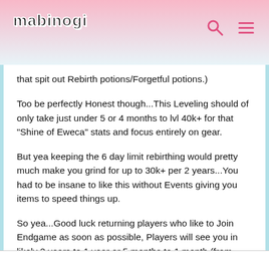mabinogi
that spit out Rebirth potions/Forgetful potions.)
Too be perfectly Honest though...This Leveling should of only take just under 5 or 4 months to lvl 40k+ for that "Shine of Eweca" stats and focus entirely on gear.
But yea keeping the 6 day limit rebirthing would pretty much make you grind for up to 30k+ per 2 years...You had to be insane to like this without Events giving you items to speed things up.
So yea...Good luck returning players who like to Join Endgame as soon as possible, Players will see you in likely 2 years to 1 year or 5 months to 1 month (from using rebirth potions.) That is if you want the best Stats of course, you can still be Endgame for as long as you have gear and have Grandmastered everything.